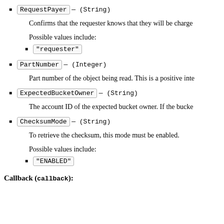RequestPayer — (String)
Confirms that the requester knows that they will be charge...
Possible values include:
"requester"
PartNumber — (Integer)
Part number of the object being read. This is a positive inte...
ExpectedBucketOwner — (String)
The account ID of the expected bucket owner. If the bucke...
ChecksumMode — (String)
To retrieve the checksum, this mode must be enabled.
Possible values include:
"ENABLED"
Callback (callback):